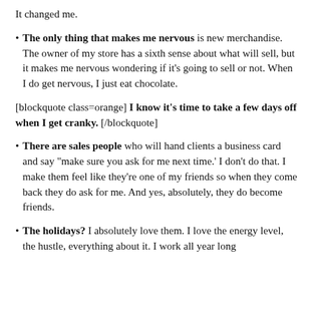It changed me.
The only thing that makes me nervous is new merchandise. The owner of my store has a sixth sense about what will sell, but it makes me nervous wondering if it's going to sell or not. When I do get nervous, I just eat chocolate.
[blockquote class=orange] I know it's time to take a few days off when I get cranky. [/blockquote]
There are sales people who will hand clients a business card and say "make sure you ask for me next time.' I don't do that. I make them feel like they're one of my friends so when they come back they do ask for me. And yes, absolutely, they do become friends.
The holidays? I absolutely love them. I love the energy level, the hustle, everything about it. I work all year long